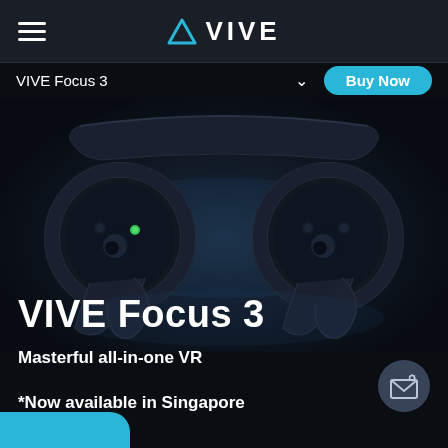VIVE
VIVE Focus 3
Buy Now
[Figure (photo): HTC VIVE Focus 3 VR headset controllers shown on dark background with subtle blue glow]
VIVE Focus 3
Masterful all-in-one VR
*Now available in Singapore